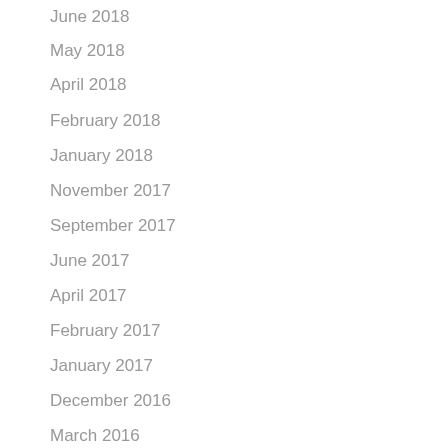June 2018
May 2018
April 2018
February 2018
January 2018
November 2017
September 2017
June 2017
April 2017
February 2017
January 2017
December 2016
March 2016